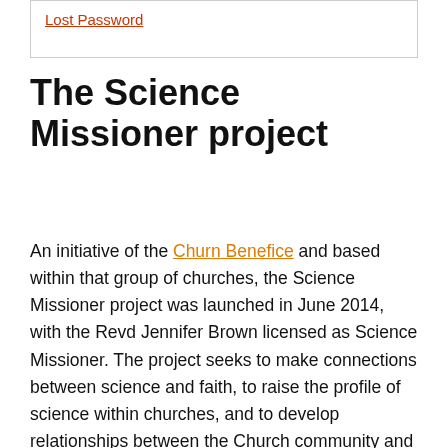Lost Password
The Science Missioner project
An initiative of the Churn Benefice and based within that group of churches, the Science Missioner project was launched in June 2014, with the Revd Jennifer Brown licensed as Science Missioner. The project seeks to make connections between science and faith, to raise the profile of science within churches, and to develop relationships between the Church community and the science & technology industry. The project is currently funded by a grant from the Templeton